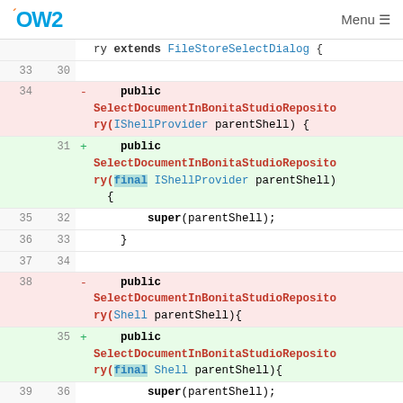OW2 | Menu
[Figure (screenshot): Code diff view showing changes to SelectDocumentInBonitaStudioRepository constructor methods. Lines 34 and 38 are deletions (red), lines 31 and 35 are additions (green). The change adds 'final' keyword to IShellProvider and Shell parameters respectively.]